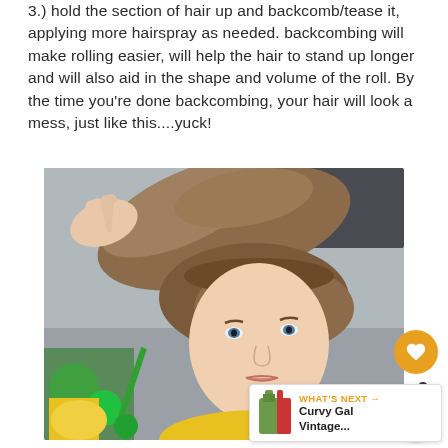3.) hold the section of hair up and backcomb/tease it, applying more hairspray as needed. backcombing will make rolling easier, will help the hair to stand up longer and will also aid in the shape and volume of the roll. By the time you're done backcombing, your hair will look a mess, just like this....yuck!
[Figure (photo): A woman holding up a section of her hair which is being backcombed/teased, making it look messy and voluminous. She is looking to the side with colorful toys/decorations visible in the background.]